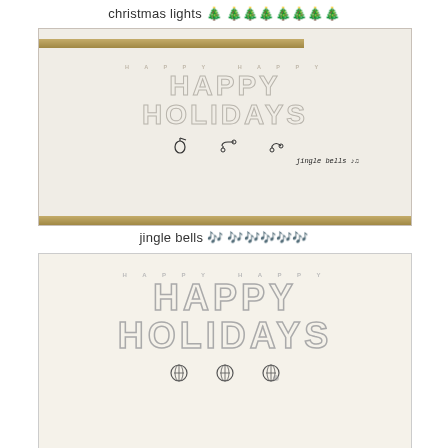christmas lights 🎄 🎄🎄🎄🎄🎄🎄🎄
[Figure (photo): Photo of a Happy Holidays greeting card with gold bar at top, outline text reading HAPPY HAPPY / HAPPY / HOLIDAYS, small music/headphone icons, and handwritten 'jingle bells' text with music notes]
jingle bells 🎶 🎶🎶🎶🎶🎶
[Figure (photo): Photo of a Happy Holidays greeting card with cream/off-white background, outline text reading HAPPY HAPPY / HAPPY / HOLIDAYS, and small cookie/ball icons at bottom]